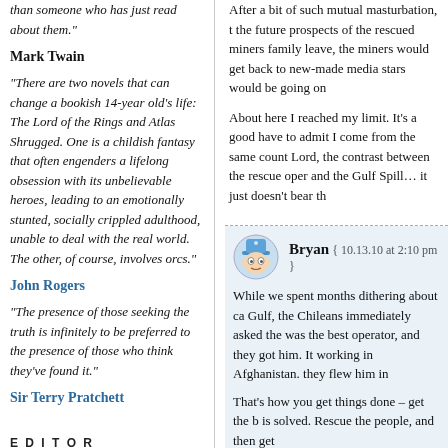than someone who has just read about them."
Mark Twain
"There are two novels that can change a bookish 14-year old’s life: The Lord of the Rings and Atlas Shrugged. One is a childish fantasy that often engenders a lifelong obsession with its unbelievable heroes, leading to an emotionally stunted, socially crippled adulthood, unable to deal with the real world. The other, of course, involves orcs."
John Rogers
“The presence of those seeking the truth is infinitely to be preferred to the presence of those who think they’ve found it.”
Sir Terry Pratchett
EDITOR
After a bit of such mutual masturbation, the future prospects of the rescued miners family leave, the miners would get back to new-made media stars would be going on
About here I reached my limit. It’s a good have to admit I come from the same count Lord, the contrast between the rescue oper and the Gulf Spill… it just doesn’t bear th
Bryan { 10.13.10 at 2:10 pm }
While we spent months dithering about ca Gulf, the Chileans immediately asked the was the best operator, and they got him. It working in Afghanistan. they flew him in
That’s how you get things done – get the b is solved. Rescue the people, and then get
When the first question is “What is it goin